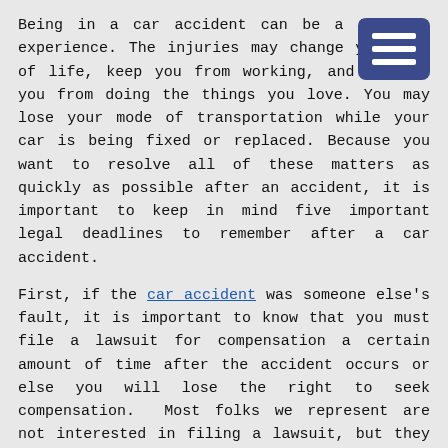Being in a car accident can be a terrible experience. The injuries may change your way of life, keep you from working, and prevent you from doing the things you love. You may lose your mode of transportation while your car is being fixed or replaced. Because you want to resolve all of these matters as quickly as possible after an accident, it is important to keep in mind five important legal deadlines to remember after a car accident.
First, if the car accident was someone else's fault, it is important to know that you must file a lawsuit for compensation a certain amount of time after the accident occurs or else you will lose the right to seek compensation. Most folks we represent are not interested in filing a lawsuit, but they see that the other driver's insurance company fails to provide fair compensation and drags the process out. Then, before they know it, they need to file a lawsuit or else accept the insurance company's low-ball offer. Determining the statute of limitations for an injury claim can be difficult, as it may depend on a number of factors, such as the age of the injured person, that can impact the date the statute of limitations expires.